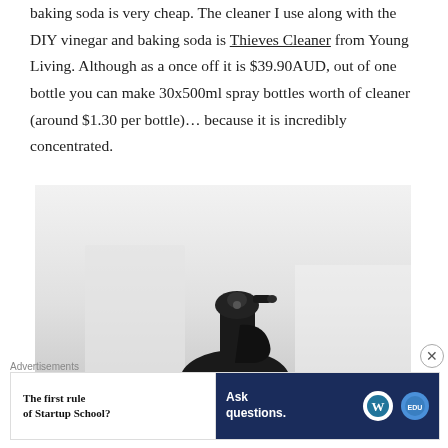baking soda is very cheap. The cleaner I use along with the DIY vinegar and baking soda is Thieves Cleaner from Young Living. Although as a once off it is $39.90AUD, out of one bottle you can make 30x500ml spray bottles worth of cleaner (around $1.30 per bottle)… because it is incredibly concentrated.
[Figure (photo): Photo of a black spray bottle nozzle/trigger mechanism against a light blurred background]
Advertisements
[Figure (screenshot): Advertisement banner: left side white background with bold text 'The first rule of Startup School?', right side dark blue with text 'Ask questions.' and WordPress and another circular logo]